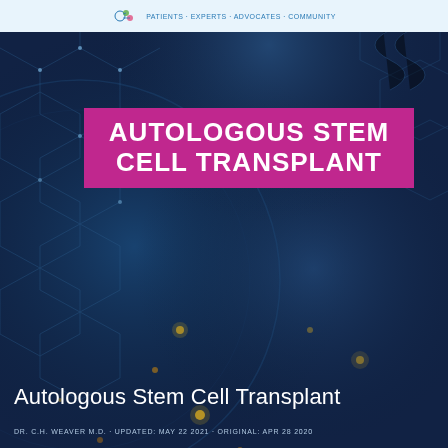Patients · Experts · Advocates · Community
AUTOLOGOUS STEM CELL TRANSPLANT
Autologous Stem Cell Transplant
DR. C.H. WEAVER M.D. · UPDATED: MAY 22 2021 · ORIGINAL: APR 28 2020